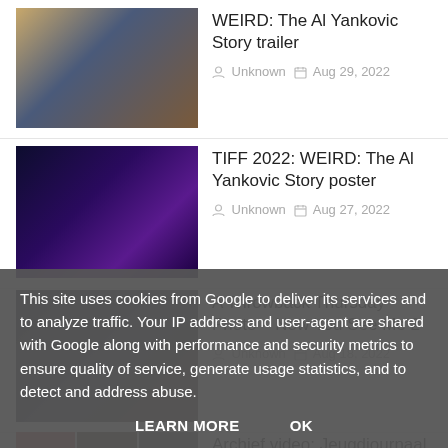WEIRD: The Al Yankovic Story trailer — Unknown, Aug 29, 2022
TIFF 2022: WEIRD: The Al Yankovic Story poster — Unknown, Aug 27, 2022
A Throwback Thursday Photo – Now You See Me 2 — Unknown, Aug 18, 2022
Archief video: Jeugdjournaal interview (2005)
This site uses cookies from Google to deliver its services and to analyze traffic. Your IP address and user-agent are shared with Google along with performance and security metrics to ensure quality of service, generate usage statistics, and to detect and address abuse.
LEARN MORE   OK